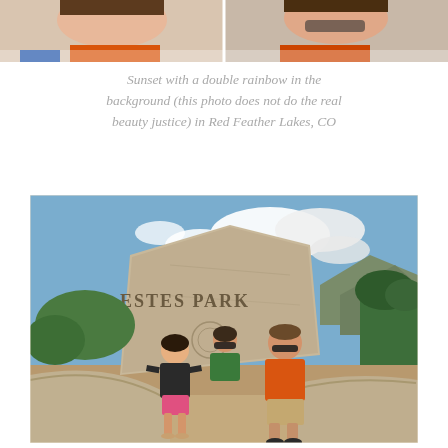[Figure (photo): Cropped top portion of two people's faces/heads visible at top of page, partial photo]
Sunset with a double rainbow in the background (this photo does not do the real beauty justice) in Red Feather Lakes, CO
[Figure (photo): Three people posing in front of the Estes Park stone welcome sign with mountains and blue sky in background]